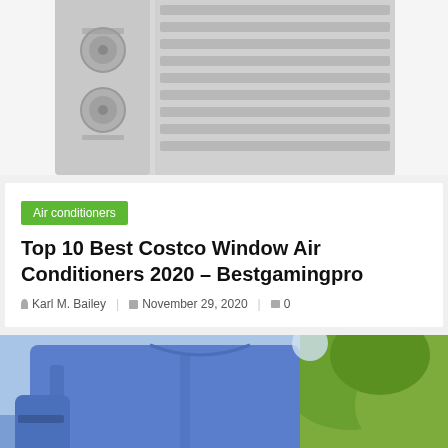[Figure (photo): Top portion of a white window air conditioner unit with ventilation grilles and control knobs, shown on a white background.]
Air conditioners
Top 10 Best Costco Window Air Conditioners 2020 – Bestgamingpro
Karl M. Bailey   November 29, 2020   0
[Figure (photo): Person in a blue work jacket/overalls outdoors, holding something, with green foliage visible in the background.]